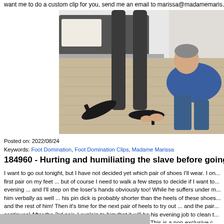want me to do a custom clip for you, send me an email to marissa@madamemaris...
[Figure (photo): A man kneeling on a wooden floor adjusting high heeled shoes on a woman's legs wearing dark stockings, with a sofa in the background. Another high heel is on the floor.]
Posted on: 2022/08/24
Keywords: Foot Domination, Foot Domination Clips, Madame Marissa
184960 - Hurting and humiliating the slave before going o...
I want to go out tonight, but I have not decided yet which pair of shoes I'll wear. I on... first pair on my feet ... but of course I need to walk a few steps to decide if I want to... evening ... and I'll step on the loser's hands obviously too! While he suffers under m... him verbally as well ... his pin dick is probably shorter than the heels of these shoes... and the rest of him! Then it's time for the next pair of heels to try out ... and the pair... continues! After the 3rd pair, I explain to him that it will be his evening job to clean t... wear with his tongue ... while I'm going out and enjoy life! This is a non-exclusive c... want me to do a custom clip for you, send me an email to marissa@madamemaris...